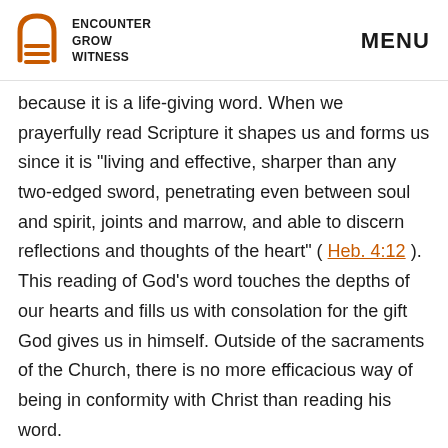ENCOUNTER GROW WITNESS | MENU
because it is a life-giving word. When we prayerfully read Scripture it shapes us and forms us since it is “living and effective, sharper than any two-edged sword, penetrating even between soul and spirit, joints and marrow, and able to discern reflections and thoughts of the heart” ( Heb. 4:12 ). This reading of God’s word touches the depths of our hearts and fills us with consolation for the gift God gives us in himself. Outside of the sacraments of the Church, there is no more efficacious way of being in conformity with Christ than reading his word.
But it also understands the depths of the heart.